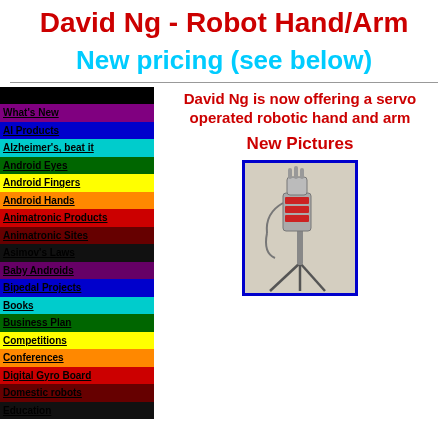David Ng - Robot Hand/Arm
New pricing (see below)
Home
What's New
AI Products
Alzheimer's, beat it
Android Eyes
Android Fingers
Android Hands
Animatronic Products
Animatronic Sites
Asimov's Laws
Baby Androids
Bipedal Projects
Books
Business Plan
Competitions
Conferences
Digital Gyro Board
Domestic robots
Education
David Ng is now offering a servo operated robotic hand and arm
New Pictures
[Figure (photo): Servo operated robotic hand and arm mounted on a tripod stand, shown against a light grey background. The hand/arm assembly is metallic/silver in color with visible servo motors and mechanical components.]